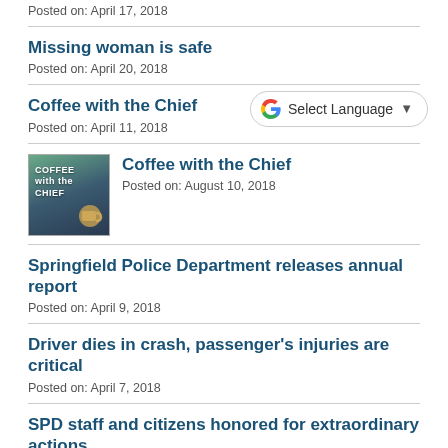Posted on: April 17, 2018
Missing woman is safe
Posted on: April 20, 2018
Coffee with the Chief
Posted on: April 11, 2018
[Figure (screenshot): Google Translate Select Language widget button with Google G logo and dropdown chevron]
[Figure (photo): Thumbnail image for Coffee with the Chief showing text COFFEE with the CHIEF and a coffee mug]
Coffee with the Chief
Posted on: August 10, 2018
Springfield Police Department releases annual report
Posted on: April 9, 2018
Driver dies in crash, passenger's injuries are critical
Posted on: April 7, 2018
SPD staff and citizens honored for extraordinary actions